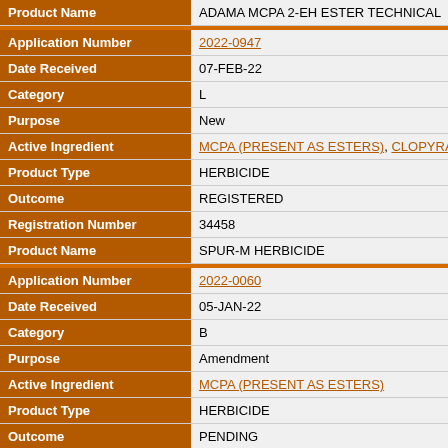| Field | Value |
| --- | --- |
| Product Name | ADAMA MCPA 2-EH ESTER TECHNICAL |
| Application Number | 2022-0947 |
| Date Received | 07-FEB-22 |
| Category | L |
| Purpose | New |
| Active Ingredient | MCPA (PRESENT AS ESTERS), CLOPYRALID |
| Product Type | HERBICIDE |
| Outcome | REGISTERED |
| Registration Number | 34458 |
| Product Name | SPUR-M HERBICIDE |
| Application Number | 2022-0060 |
| Date Received | 05-JAN-22 |
| Category | B |
| Purpose | Amendment |
| Active Ingredient | MCPA (PRESENT AS ESTERS) |
| Product Type | HERBICIDE |
| Outcome | PENDING |
| Registration Number | Confidential |
| Product Name | Confidential |
| Application Number | 2022-0106 |
| Date Received | 05-JAN-22 |
| Category | C |